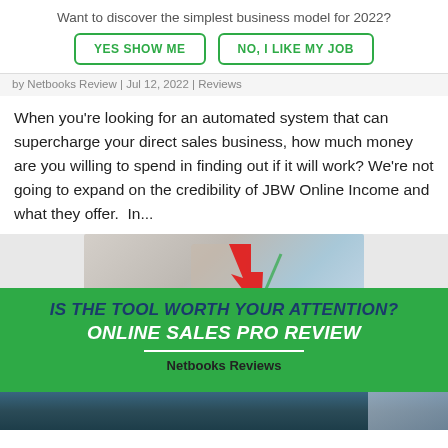Want to discover the simplest business model for 2022?
YES SHOW ME | NO, I LIKE MY JOB
by Netbooks Review | Jul 12, 2022 | Reviews
When you're looking for an automated system that can supercharge your direct sales business, how much money are you willing to spend in finding out if it will work? We're not going to expand on the credibility of JBW Online Income and what they offer.  In...
[Figure (infographic): Promotional image with a red upward arrow, green background banner reading 'IS THE TOOL WORTH YOUR ATTENTION? ONLINE SALES PRO REVIEW' with 'Netbooks Reviews' label, overlaid on a cityscape photo.]